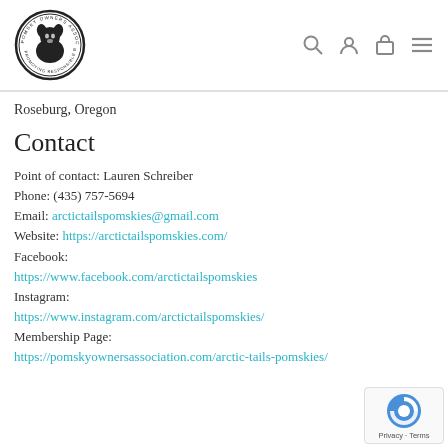[Figure (logo): Pomsky Owners Association circular logo with dog illustration]
Roseburg, Oregon
Contact
Point of contact: Lauren Schreiber
Phone: (435) 757-5694
Email: arctictailspomskies@gmail.com
Website: https://arctictailspomskies.com/
Facebook:
https://www.facebook.com/arctictailspomskies
Instagram:
https://www.instagram.com/arctictailspomskies/
Membership Page:
https://pomskyownersassociation.com/arctic-tails-pomskies/